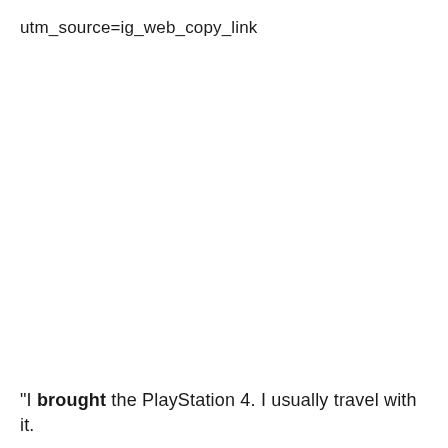utm_source=ig_web_copy_link
“I brought the PlayStation 4. I usually travel with it.